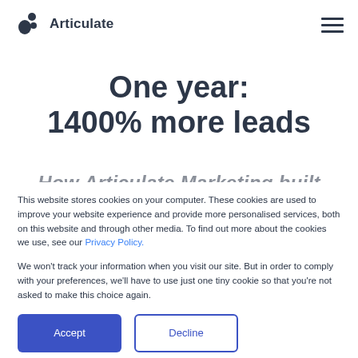Articulate
One year: 1400% more leads
How Articulate Marketing built
This website stores cookies on your computer. These cookies are used to improve your website experience and provide more personalised services, both on this website and through other media. To find out more about the cookies we use, see our Privacy Policy.
We won't track your information when you visit our site. But in order to comply with your preferences, we'll have to use just one tiny cookie so that you're not asked to make this choice again.